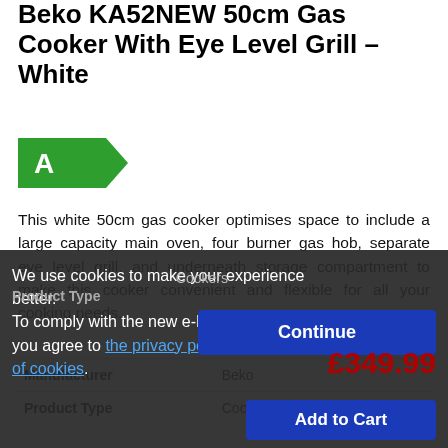Beko KA52NEW 50cm Gas Cooker With Eye Level Grill - White
[Figure (infographic): Energy efficiency rating badge showing grade A in green with arrow shape]
This white 50cm gas cooker optimises space to include a large capacity main oven, four burner gas hob, separate eye level grill, and underneath storage compartment to make this cooker convenient and flexible for all your cooking needs.
| Manufacturer | Beko |
| --- | --- |
| Product Type | Cookers |
We use cookies to make your experience better. To comply with the new e-Privacy directive, you agree to the privacy policy and our use of cookies.
Continue
£349.99
Add to Cart